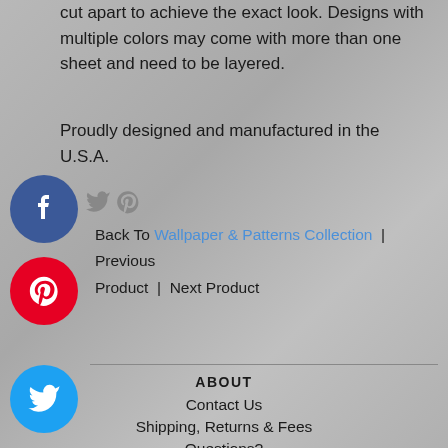cut apart to achieve the exact look. Designs with multiple colors may come with more than one sheet and need to be layered.
Proudly designed and manufactured in the U.S.A.
[Figure (illustration): Social media share icons: Facebook (blue circle with f), Twitter bird (gray small), Pinterest (gray small p). Below: red Pinterest circle icon, blue Twitter bird circle icon, pink/purple Instagram circle icon.]
Back To Wallpaper & Patterns Collection | Previous Product | Next Product
ABOUT
Contact Us
Shipping, Returns & Fees
Questions?
Legal
Vinyl Application Tips